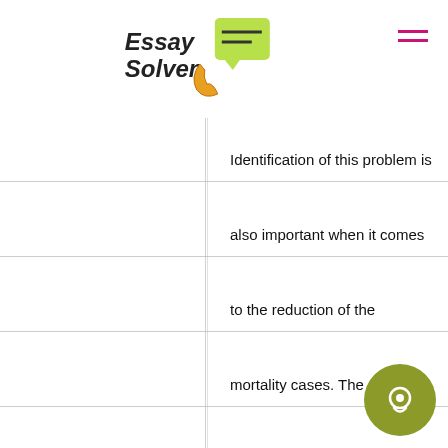Essay Solver
Identification of this problem is also important when it comes to the reduction of the mortality cases. The study of this problem is helping in the generation of the meaningful data with regard to the practices, knowledge, and other associated factors of healthcare acquired infections. This is important in processing the measuring the outcome of the patient safety practices. Through monitoring the process and the outcome measures as well as the evaluation of the existing relationship is important in establishing the process which results in good health care